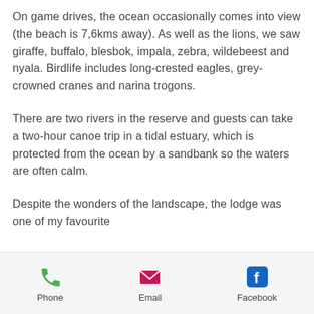On game drives, the ocean occasionally comes into view (the beach is 7,6kms away). As well as the lions, we saw giraffe, buffalo, blesbok, impala, zebra, wildebeest and nyala. Birdlife includes long-crested eagles, grey-crowned cranes and narina trogons.
There are two rivers in the reserve and guests can take a two-hour canoe trip in a tidal estuary, which is protected from the ocean by a sandbank so the waters are often calm.
Despite the wonders of the landscape, the lodge was one of my favourite
Phone | Email | Facebook